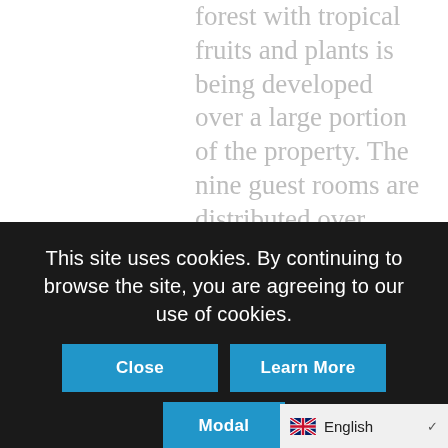forest with tropical fruits and plants is being developed over a large portion of the property. The nine guest rooms are distributed over three independent
This site uses cookies. By continuing to browse the site, you are agreeing to our use of cookies.
Close
Learn More
Modal
English